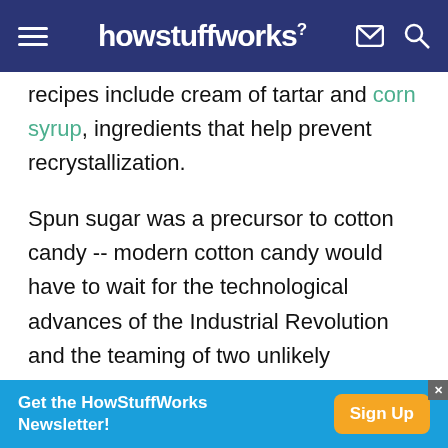howstuffworks
recipes include cream of tartar and corn syrup, ingredients that help prevent recrystallization.
Spun sugar was a precursor to cotton candy -- modern cotton candy would have to wait for the technological advances of the Industrial Revolution and the teaming of two unlikely business associates.
Advertisement
[Figure (other): Gray advertisement placeholder box]
[Figure (other): Blue banner: Get the HowStuffWorks Newsletter! with Sign Up button]